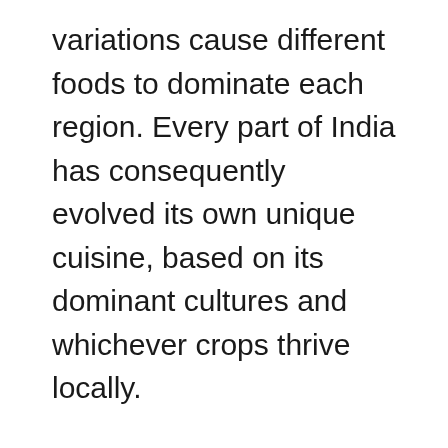variations cause different foods to dominate each region. Every part of India has consequently evolved its own unique cuisine, based on its dominant cultures and whichever crops thrive locally.
My favorite vlogger, Mr. Bald and Bankrupt himself, put it wonderfully: “[India’s] cuisine changes from state to state, even sometimes from city to city.